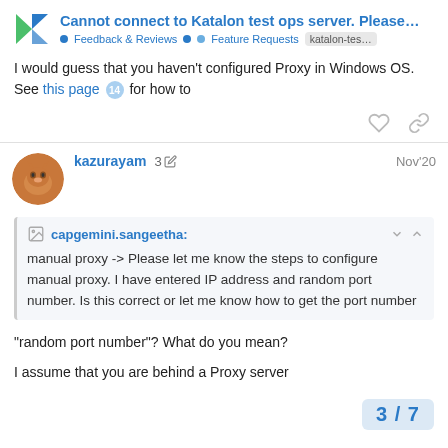Cannot connect to Katalon test ops server. Please... • Feedback & Reviews •• Feature Requests katalon-tes...
I would guess that you haven't configured Proxy in Windows OS. See this page 14 for how to
kazurayam  3✏  Nov'20
capgemini.sangeetha: manual proxy -> Please let me know the steps to configure manual proxy. I have entered IP address and random port number. Is this correct or let me know how to get the port number
"random port number"? What do you mean?
I assume that you are behind a Proxy server
3 / 7